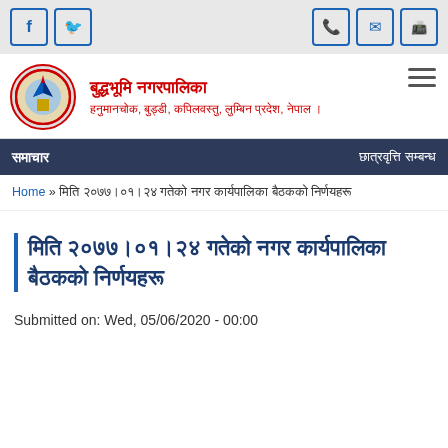Social media icons (Facebook, Twitter) and contact icons (phone, email, fax)
बुद्धभूमि नगरपालिका
हनुमानचोक, बुड्डी, कपिलवस्तु, लुम्बिन प्रदेश, नेपाल ।
समाचार
छात्रवृत्ति सम्बन्ध
Home » मिति २०७७।०१।२४ गतेको नगर कार्यपालिका बैठकको निर्णयहरू
मिति २०७७।०१।२४ गतेको नगर कार्यपालिका बैठकको निर्णयहरू
Submitted on: Wed, 05/06/2020 - 00:00